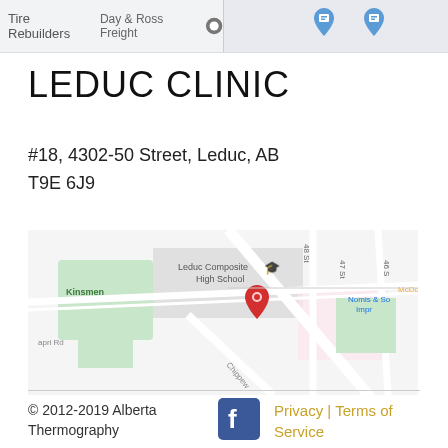[Figure (screenshot): Top strip showing partial map with Day & Ross Freight label and blue map pins on a grey background]
LEDUC CLINIC
#18, 4302-50 Street, Leduc, AB
T9E 6J9
[Figure (map): Google Maps screenshot showing Leduc area with red pin at Unit 18 near Leduc Composite High School and Leduc Community Hospital]
© 2012-2019 Alberta Thermography   [Facebook icon]   Privacy | Terms of Service